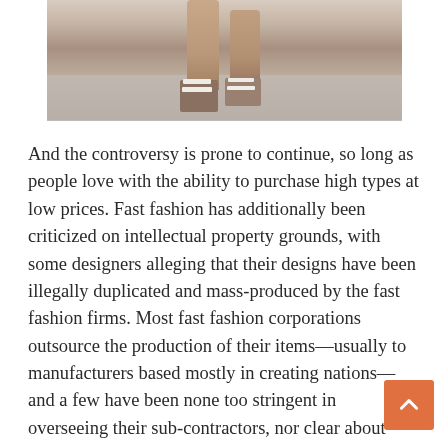[Figure (photo): Close-up photo of a model's legs walking on a runway, wearing strappy heeled sandals, gray flooring visible]
And the controversy is prone to continue, so long as people love with the ability to purchase high types at low prices. Fast fashion has additionally been criticized on intellectual property grounds, with some designers alleging that their designs have been illegally duplicated and mass-produced by the fast fashion firms. Most fast fashion corporations outsource the production of their items—usually to manufacturers based mostly in creating nations—and a few have been none too stringent in overseeing their sub-contractors, nor clear about their supply chain. That's led to critics charging that quick fashion